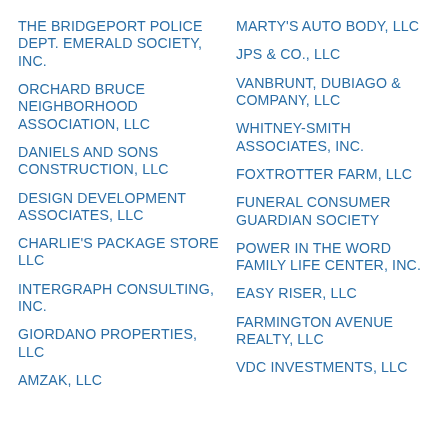THE BRIDGEPORT POLICE DEPT. EMERALD SOCIETY, INC.
ORCHARD BRUCE NEIGHBORHOOD ASSOCIATION, LLC
DANIELS AND SONS CONSTRUCTION, LLC
DESIGN DEVELOPMENT ASSOCIATES, LLC
CHARLIE'S PACKAGE STORE LLC
INTERGRAPH CONSULTING, INC.
GIORDANO PROPERTIES, LLC
AMZAK, LLC
MARTY'S AUTO BODY, LLC
JPS & CO., LLC
VANBRUNT, DUBIAGO & COMPANY, LLC
WHITNEY-SMITH ASSOCIATES, INC.
FOXTROTTER FARM, LLC
FUNERAL CONSUMER GUARDIAN SOCIETY
POWER IN THE WORD FAMILY LIFE CENTER, INC.
EASY RISER, LLC
FARMINGTON AVENUE REALTY, LLC
VDC INVESTMENTS, LLC